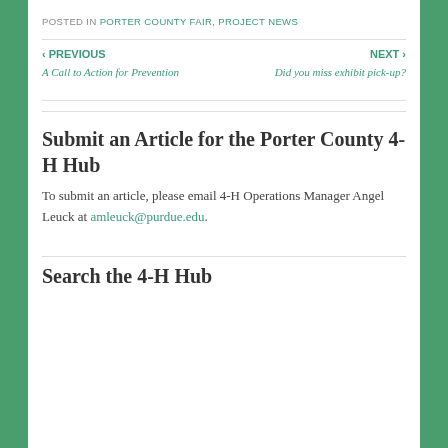POSTED IN PORTER COUNTY FAIR, PROJECT NEWS
‹ PREVIOUS
A Call to Action for Prevention
NEXT ›
Did you miss exhibit pick-up?
Submit an Article for the Porter County 4-H Hub
To submit an article, please email 4-H Operations Manager Angel Leuck at amleuck@purdue.edu.
Search the 4-H Hub